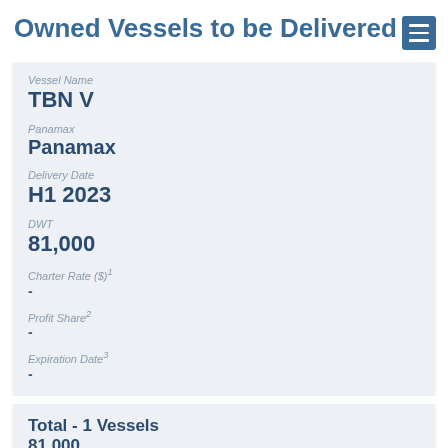Owned Vessels to be Delivered
| Vessel Name | Panamax | Delivery Date | DWT | Charter Rate ($)1 | Profit Share2 | Expiration Date3 |
| --- | --- | --- | --- | --- | --- | --- |
| TBN V | Panamax | H1 2023 | 81,000 | - | - | - |
Total - 1 Vessels
81,000